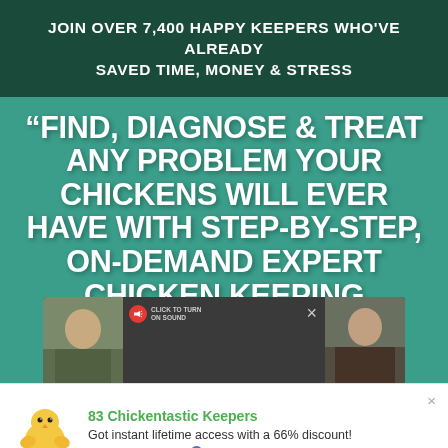JOIN OVER 7,400 HAPPY KEEPERS WHO'VE ALREADY SAVED TIME, MONEY & STRESS
“FIND, DIAGNOSE & TREAT ANY PROBLEM YOUR CHICKENS WILL EVER HAVE WITH STEP-BY-STEP, ON-DEMAND EXPERT CHICKEN KEEPING ADVICE!”
[Figure (screenshot): Video player strip showing two thumbnail images of people on left and right sides, with a red sound icon badge reading CLICK TO TURN ON SOUND and an X close button]
83 Chickentastic Keepers
Got instant lifetime access with a 66% discount!
in the past 15 hours ✓ ProveSource